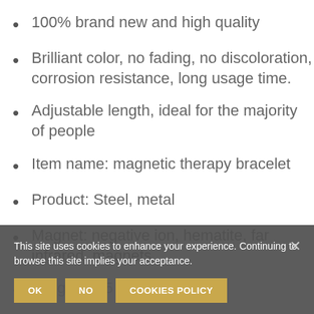100% brand new and high quality
Brilliant color, no fading, no discoloration, corrosion resistance, long usage time.
Adjustable length, ideal for the majority of people
Item name: magnetic therapy bracelet
Product: Steel, metal
Magnet: negative ion, hematite, far infrared, magnets
Length: 215 mm
This site uses cookies to enhance your experience. Continuing to browse this site implies your acceptance.
OK | NO | COOKIES POLICY